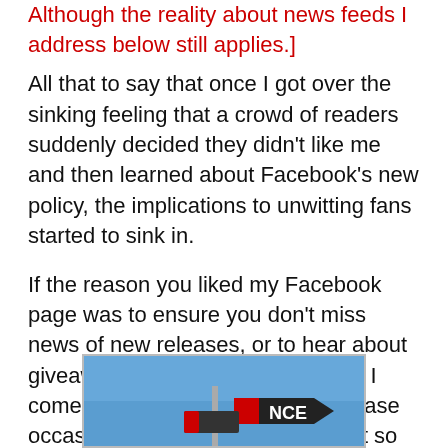Although the reality about news feeds I address below still applies.]
All that to say that once I got over the sinking feeling that a crowd of readers suddenly decided they didn't like me and then learned about Facebook's new policy, the implications to unwitting fans started to sink in.
If the reason you liked my Facebook page was to ensure you don't miss news of new releases, or to hear about giveaways, or specials, or freebies I come across from time to time, please occasionally pop by and like a post so that you'll be sure to see the most popular posts in your news feeds.
[Figure (photo): A blue sky background with a road sign showing partial text ending in 'NCE', with arrow-shaped sign in dark color with red accent.]